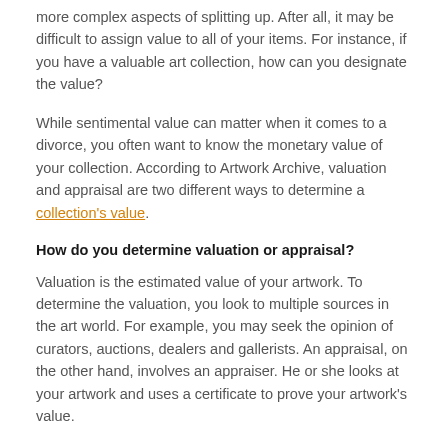more complex aspects of splitting up. After all, it may be difficult to assign value to all of your items. For instance, if you have a valuable art collection, how can you designate the value?
While sentimental value can matter when it comes to a divorce, you often want to know the monetary value of your collection. According to Artwork Archive, valuation and appraisal are two different ways to determine a collection's value.
How do you determine valuation or appraisal?
Valuation is the estimated value of your artwork. To determine the valuation, you look to multiple sources in the art world. For example, you may seek the opinion of curators, auctions, dealers and gallerists. An appraisal, on the other hand, involves an appraiser. He or she looks at your artwork and uses a certificate to prove your artwork's value.